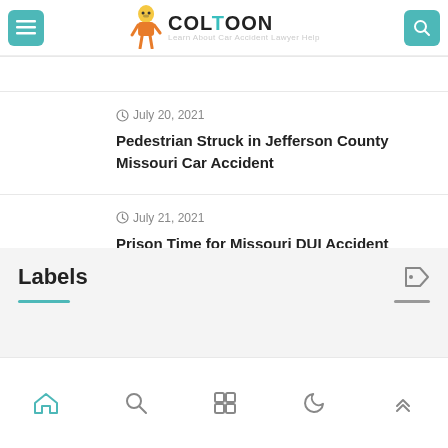COLTOON — Learn About Car Accident Lawyer Help
July 20, 2021
Pedestrian Struck in Jefferson County Missouri Car Accident
July 21, 2021
Prison Time for Missouri DUI Accident Drivers
Labels
Home Search Grid Night Mode Top